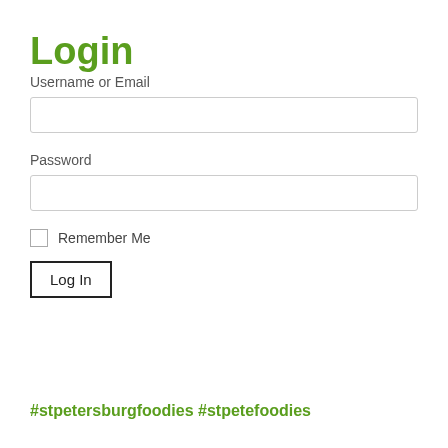Login
Username or Email
Password
Remember Me
Log In
#stpetersburgfoodies #stpetefoodies